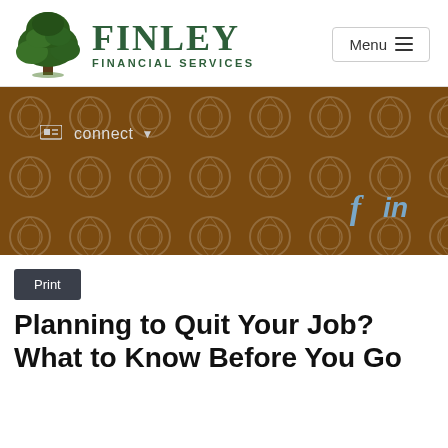[Figure (logo): Finley Financial Services logo with oak tree illustration and serif text]
[Figure (screenshot): Brown decorative banner with connect dropdown menu and Facebook/LinkedIn social icons]
Print
Planning to Quit Your Job? What to Know Before You Go